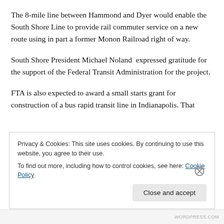The 8-mile line between Hammond and Dyer would enable the South Shore Line to provide rail commuter service on a new route using in part a former Monon Railroad right of way.
South Shore President Michael Noland  expressed gratitude for the support of the Federal Transit Administration for the project.
FTA is also expected to award a small starts grant for construction of a bus rapid transit line in Indianapolis. That
Privacy & Cookies: This site uses cookies. By continuing to use this website, you agree to their use.
To find out more, including how to control cookies, see here: Cookie Policy
WORDPRESS.COM